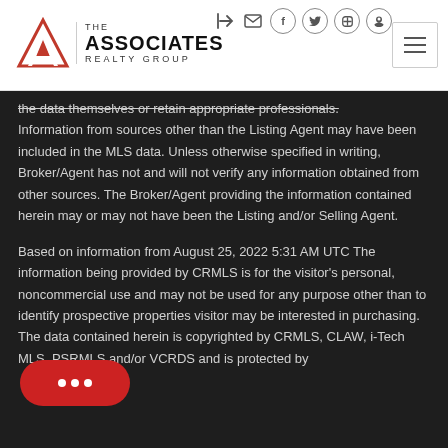[Figure (logo): The Associates Realty Group logo with red triangular A icon and company name]
the data themselves or retain appropriate professionals. Information from sources other than the Listing Agent may have been included in the MLS data. Unless otherwise specified in writing, Broker/Agent has not and will not verify any information obtained from other sources. The Broker/Agent providing the information contained herein may or may not have been the Listing and/or Selling Agent.
Based on information from August 25, 2022 5:31 AM UTC The information being provided by CRMLS is for the visitor's personal, noncommercial use and may not be used for any purpose other than to identify prospective properties visitor may be interested in purchasing. The data contained herein is copyrighted by CRMLS, CLAW, i-Tech MLS, PSRMLS and/or VCRDS and is protected by